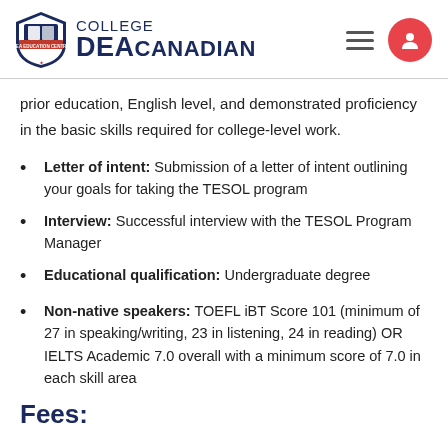[Figure (logo): College DEA Canadian logo with shield emblem on the left and navigation icons on the right]
prior education, English level, and demonstrated proficiency in the basic skills required for college-level work.
Letter of intent: Submission of a letter of intent outlining your goals for taking the TESOL program
Interview: Successful interview with the TESOL Program Manager
Educational qualification: Undergraduate degree
Non-native speakers: TOEFL iBT Score 101 (minimum of 27 in speaking/writing, 23 in listening, 24 in reading) OR IELTS Academic 7.0 overall with a minimum score of 7.0 in each skill area
Fees: